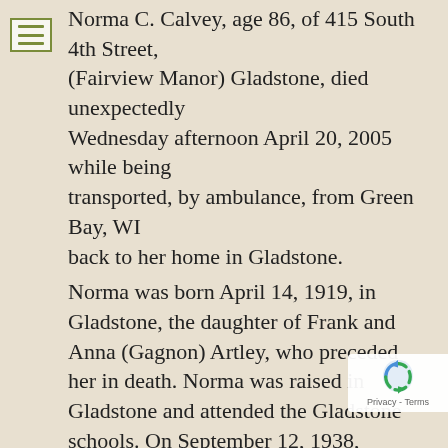Norma C. Calvey, age 86, of 415 South 4th Street, (Fairview Manor) Gladstone, died unexpectedly Wednesday afternoon April 20, 2005 while being transported, by ambulance, from Green Bay, WI back to her home in Gladstone. Norma was born April 14, 1919, in Gladstone, the daughter of Frank and Anna (Gagnon) Artley, who preceded her in death. Norma was raised in Gladstone and attended the Gladstone schools. On September 12, 1938, Norma married William E. Calvey and the couple remained in Gladstone, for a short period of time, before moving to Southgate, MI. They lived in Southgate until 1968 at which time the couple returned to Gladstone. William preceded Norma in death on January 19, 1997. Norma volunteered her time as a Eucharistic minister at All Saints Church in addition to serving on the housing commission at the Fairview Manor. She belonged to the Gladstone American Legion Auxiliary Post #71